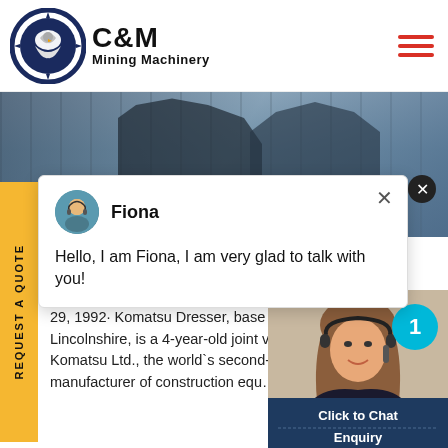[Figure (logo): C&M Mining Machinery logo with eagle in gear icon and text]
[Figure (photo): Industrial mining machinery equipment in hero banner]
REQUEST A QUOTE
Fiona
Hello, I am Fiona, I am very glad to talk with you!
BERTYVILLE PLANT TO CL... KOMATSU WARNS UNION
29, 1992: Komatsu Dresser, base... Lincolnshire, is a 4-year-old joint ve... Komatsu Ltd., the world's second-l... manufacturer of construction equ...
[Figure (photo): Customer service agent with headset, Click to Chat button, Enquiry button, notification badge showing 1]